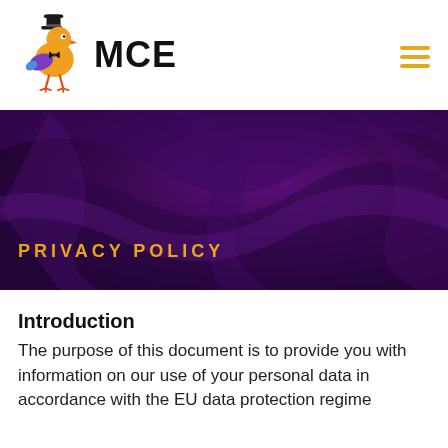[Figure (logo): MCE logo with a colorful bird wearing a top hat and bow tie, beside bold text 'MCE']
[Figure (illustration): Dark purple feather/fabric texture banner background with 'PRIVACY POLICY' text in gold/amber letters]
PRIVACY POLICY
Introduction
The purpose of this document is to provide you with information on our use of your personal data in accordance with the EU data protection regime